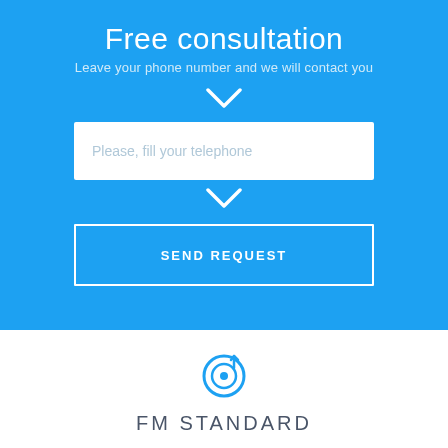Free consultation
Leave your phone number and we will contact you
[Figure (screenshot): White input box with placeholder text: Please, fill your telephone]
[Figure (other): Send Request button with white border on blue background]
[Figure (logo): Blue target/goal icon with checkmark]
FM STANDARD